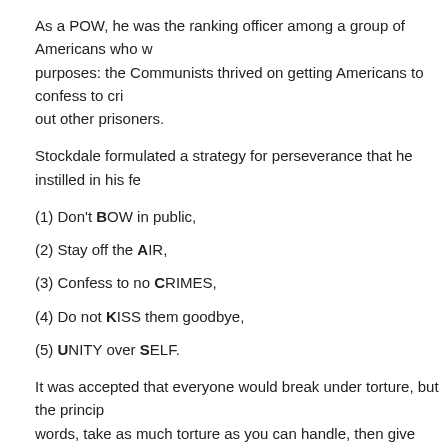As a POW, he was the ranking officer among a group of Americans who w... purposes: the Communists thrived on getting Americans to confess to cri... out other prisoners.
Stockdale formulated a strategy for perseverance that he instilled in his fe...
(1) Don't BOW in public,
(2) Stay off the AIR,
(3) Confess to no CRIMES,
(4) Do not KISS them goodbye,
(5) UNITY over SELF.
It was accepted that everyone would break under torture, but the princip... words, take as much torture as you can handle, then give them as little as... everyone else for their safety, thereby preventing the enemy to use such t... prisoners.
For his part, Stockdale went to great extremes to avoid being used for ph... he even slashed himself. At one point, when guards discovered a letter tha... they could have tortured confessions out of him to burn others, he attemp... men. (Providentially, his wife had made a public statement in Paris regard... on notice–found Stockdale bleeding to death. They were able to save him...